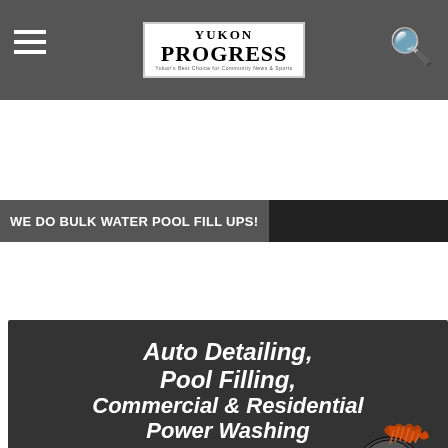Yukon Progress — Yukon's Best Choice for Community News & Sports
WE DO BULK WATER POOL FILL UPS!
[Figure (advertisement): DOC Enterprises advertisement for Auto Detailing, Pool Filling, Commercial & Residential Power Washing with Spartan helmet logo. Text reads: Auto Detailing, Pool Filling, Commercial & Residential Power Washing. DOC ENTERPRISES. CALL TODAY!! 405 034 7685 (partially visible)]